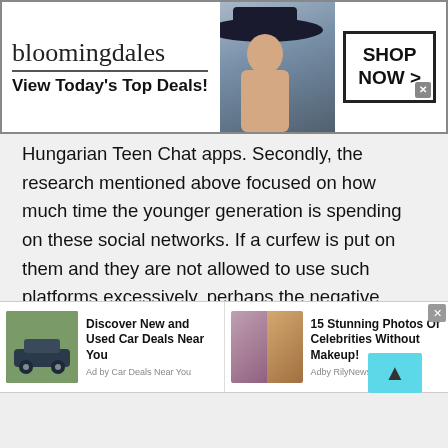[Figure (screenshot): Bloomingdale's advertisement banner: logo text 'bloomingdales', tagline 'View Today's Top Deals!', fashion model with large hat, and 'SHOP NOW >' button in a box]
Hungarian Teen Chat apps. Secondly, the research mentioned above focused on how much time the younger generation is spending on these social networks. If a curfew is put on them and they are not allowed to use such platforms excessively, perhaps the negative effects can be chopped in half or so.
Therefore, the problem is not social media, but how it is being used. As one of the researchers of the study mentioned above, Philip Powell said, 'We can not ▲ any
[Figure (screenshot): Bottom advertisement bar with two ads: 'Discover New and Used Car Deals Near You' (Ad by Car Deals Near You) and '15 Stunning Photos Of Celebrities Without Makeup!' (Adby RilyNews)]